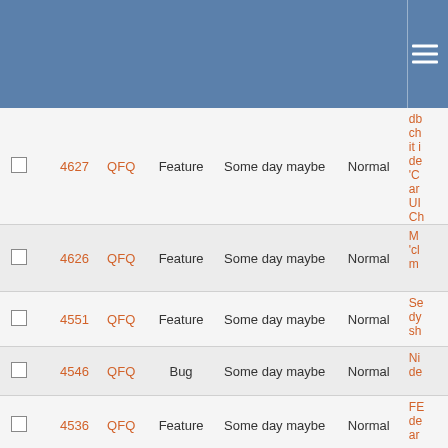Navigation header with hamburger menu
|  | # | Project | Type | Target | Priority | Description |
| --- | --- | --- | --- | --- | --- | --- |
|  | 4627 | QFQ | Feature | Some day maybe | Normal | db ch it i de 'C ar UI Ch |
|  | 4626 | QFQ | Feature | Some day maybe | Normal | M 'cl m |
|  | 4551 | QFQ | Feature | Some day maybe | Normal | Se dy sh |
|  | 4546 | QFQ | Bug | Some day maybe | Normal | NI de |
|  | 4536 | QFQ | Feature | Some day maybe | Normal | FE de ar |
|  | 4446 | QFQ | Feature | Some day maybe | Normal | Ne fe m |
|  | ... | QFQ | Feature | Some day maybe | Normal | te |